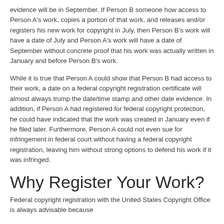evidence will be in September. If Person B someone how access to Person A's work, copies a portion of that work, and releases and/or registers his new work for copyright in July, then Person B's work will have a date of July and Person A's work will have a date of September without concrete proof that his work was actually written in January and before Person B's work.
While it is true that Person A could show that Person B had access to their work, a date on a federal copyright registration certificate will almost always trump the date/time stamp and other date evidence. In addition, if Person A had registered for federal copyright protection, he could have indicated that the work was created in January even if he filed later. Furthermore, Person A could not even sue for infringement in federal court without having a federal copyright registration, leaving him without strong options to defend his work if it was infringed.
Why Register Your Work?
Federal copyright registration with the United States Copyright Office is always advisable because